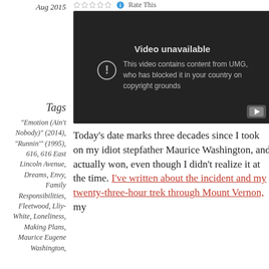Aug 2015
Tags
"Emotion (Ain't Nobody)" (2014), "Runnin'" (1995), 616, 616 East Lincoln Avenue, Dreams, Envy, Family Responsibilities, Fleetwood, Lliy-White, Loneliness, Making Plans, Maurice Eugene Washington,
[Figure (screenshot): Embedded video player showing 'Video unavailable' message: 'This video contains content from UMG, who has blocked it in your country on copyright grounds']
Today's date marks three decades since I took on my idiot stepfather Maurice Washington, and actually won, even though I didn't realize it at the time. I've written about the incident and my twenty-three-hour trek through Mount Vernon, my